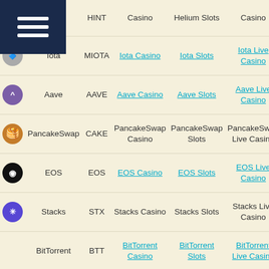| Icon | Name | Ticker | Casino | Slots | Live Casino | Blackjack |
| --- | --- | --- | --- | --- | --- | --- |
|  | ium | HINT | Casino | Helium Slots | Casino | Blackjack |
| Iota icon | Iota | MIOTA | Iota Casino | Iota Slots | Iota Live Casino | Iota Blackjack |
| Aave icon | Aave | AAVE | Aave Casino | Aave Slots | Aave Live Casino | Aave Blackjack |
| PancakeSwap icon | PancakeSwap | CAKE | PancakeSwap Casino | PancakeSwap Slots | PancakeSwap Live Casino | PancakeSwap Blackjack |
| EOS icon | EOS | EOS | EOS Casino | EOS Slots | EOS Live Casino | EOS Blackjack |
| Stacks icon | Stacks | STX | Stacks Casino | Stacks Slots | Stacks Live Casino | Stacks Blackjack |
|  | BitTorrent | BTT | BitTorrent Casino | BitTorrent Slots | BitTorrent Live Casino | BitTorrent Blackjack |
|  | The Graph | GRT | The Graph Casino | The Graph Slots | The Graph Live Casino | The Graph Blackjack |